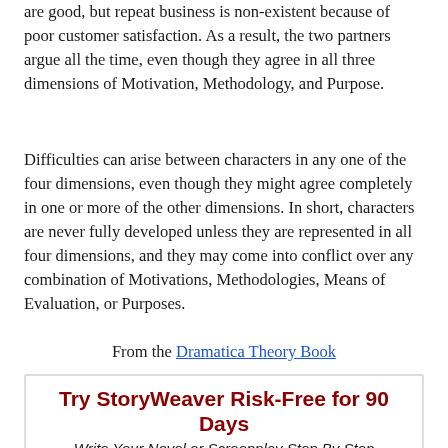are good, but repeat business is non-existent because of poor customer satisfaction. As a result, the two partners argue all the time, even though they agree in all three dimensions of Motivation, Methodology, and Purpose.
Difficulties can arise between characters in any one of the four dimensions, even though they might agree completely in one or more of the other dimensions. In short, characters are never fully developed unless they are represented in all four dimensions, and they may come into conflict over any combination of Motivations, Methodologies, Means of Evaluation, or Purposes.
From the Dramatica Theory Book
[Figure (infographic): Advertisement banner for StoryWeaver with title 'Try StoryWeaver Risk-Free for 90 Days', subtitle 'Write Your Novel or Screenplay Step By Step', and a dark background image at the bottom.]